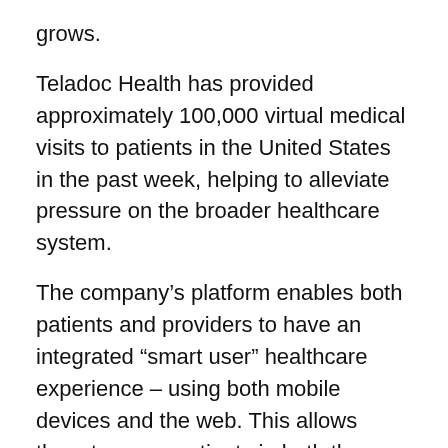grows.
Teladoc Health has provided approximately 100,000 virtual medical visits to patients in the United States in the past week, helping to alleviate pressure on the broader healthcare system.
The company’s platform enables both patients and providers to have an integrated “smart user” healthcare experience – using both mobile devices and the web. This allows them to serve patients in both the United States and internationally.
Think about it like this...
What’s worse than going into a disease-filled doctor’s office waiting room when you’re sick – and sitting next to the guy hacking up a lung